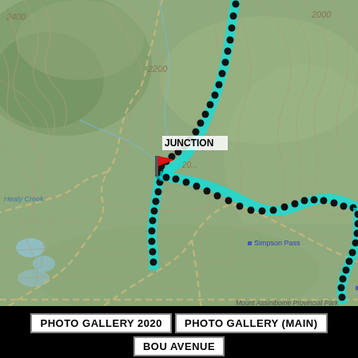[Figure (map): Topographic trail map showing terrain contour lines over a green background. A cyan dotted trail route runs from top-right down through a JUNCTION point marked with a red flag, then splits — one branch going down-left and another curving right. Labeled features include: elevation contours (2400, 2200, 2000), Healy Creek, Simpson Pass, and Mount Assiniboine Provincial Park. Dashed beige lines indicate other trails.]
PHOTO GALLERY 2020 | PHOTO GALLERY (MAIN) | BOU AVENUE